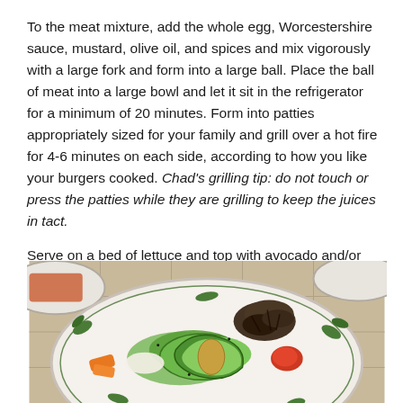To the meat mixture, add the whole egg, Worcestershire sauce, mustard, olive oil, and spices and mix vigorously with a large fork and form into a large ball. Place the ball of meat into a large bowl and let it sit in the refrigerator for a minimum of 20 minutes. Form into patties appropriately sized for your family and grill over a hot fire for 4-6 minutes on each side, according to how you like your burgers cooked. Chad's grilling tip: do not touch or press the patties while they are grilling to keep the juices in tact.
Serve on a bed of lettuce and top with avocado and/or your favorite burger condiments.
[Figure (photo): A plate with avocado slices, grilled mushrooms, and colorful vegetables served on a decorative plate with leaf pattern, placed on a tiled surface.]